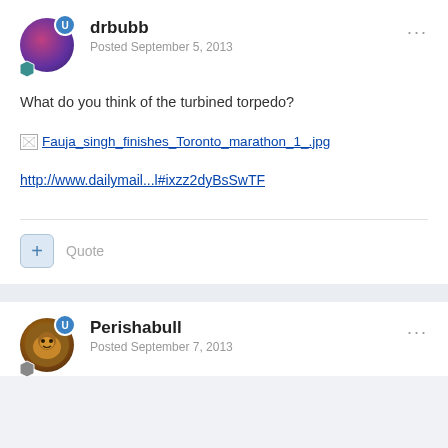drbubb
Posted September 5, 2013
What do you think of the turbined torpedo?
[Figure (other): Broken image link: Fauja_singh_finishes_Toronto_marathon_1_.jpg]
http://www.dailymail...l#ixzz2dyBsSwTF
Perishabull
Posted September 7, 2013